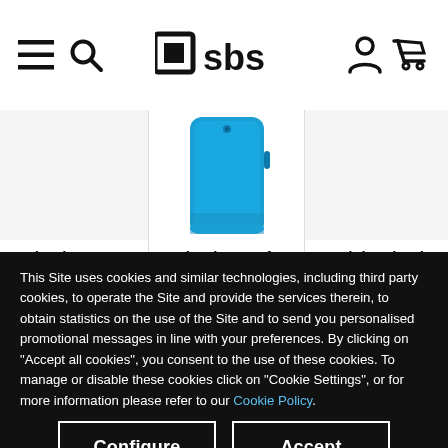SBS website header with hamburger menu, search, SBS logo, account and cart icons
[Figure (screenshot): Product listing showing three phone cases: partial left product 'hool Cover', center 'School cover for' in blue, partial right 'Hot Pink School Cov'. Fluorescent blue phone case image visible in center.]
This Site uses cookies and similar technologies, including third party cookies, to operate the Site and provide the services therein, to obtain statistics on the use of the Site and to send you personalised promotional messages in line with your preferences. By clicking on "Accept all cookies", you consent to the use of these cookies. To manage or disable these cookies click on "Cookie Settings", or for more information please refer to our Cookie Policy.
Configure
Accept